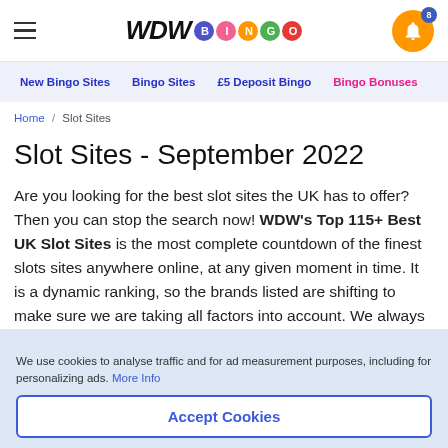WDW BINGO
New Bingo Sites | Bingo Sites | £5 Deposit Bingo | Bingo Bonuses
Home / Slot Sites
Slot Sites - September 2022
Are you looking for the best slot sites the UK has to offer? Then you can stop the search now! WDW's Top 115+ Best UK Slot Sites is the most complete countdown of the finest slots sites anywhere online, at any given moment in time. It is a dynamic ranking, so the brands listed are shifting to make sure we are taking all factors into account. We always show
We use cookies to analyse traffic and for ad measurement purposes, including for personalizing ads. More Info
Accept Cookies